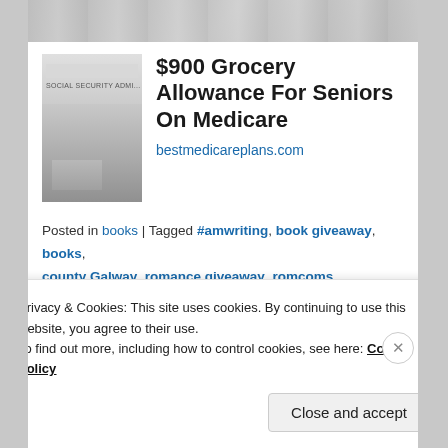[Figure (photo): Partial view of an advertisement banner strip at the top of the page, showing a blurred/greyed image.]
[Figure (photo): Image of a Social Security Administration building exterior with steps, used as ad creative.]
$900 Grocery Allowance For Seniors On Medicare
bestmedicareplans.com
Posted in books | Tagged #amwriting, book giveaway, books, county Galway, romance giveaway, romcoms, Valentines, walking, writers
Search
RECENT POSTS
Privacy & Cookies: This site uses cookies. By continuing to use this website, you agree to their use.
To find out more, including how to control cookies, see here: Cookie Policy
Close and accept